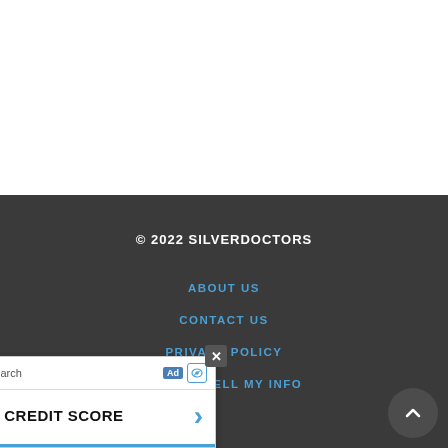© 2022 SILVERDOCTORS
ABOUT US
CONTACT US
PRIVACY POLICY
DO NOT SELL MY INFO
[Figure (screenshot): Advertisement banner: Search for | Glocal Search. 1. SEE YOUR CREDIT SCORE with a right-arrow chevron button. Ad badge and eye icon visible in top right. Close button (x) in top right corner.]